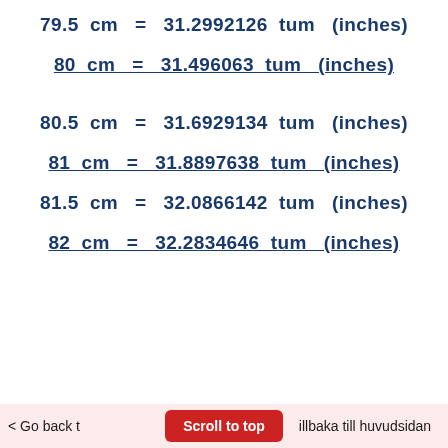79.5 cm = 31.2992126 tum (inches)
80 cm = 31.496063 tum (inches)
80.5 cm = 31.6929134 tum (inches)
81 cm = 31.8897638 tum (inches)
81.5 cm = 32.0866142 tum (inches)
82 cm = 32.2834646 tum (inches)
< Go back t... Scroll to top ...illbaka till huvudsidan